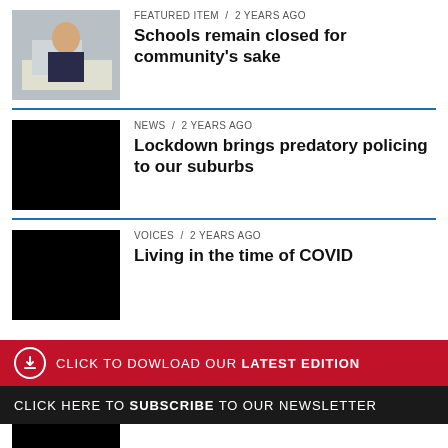FEATURED ITEM / 2 years ago
Schools remain closed for community’s sake
NEWS / 2 years ago
Lockdown brings predatory policing to our suburbs
VOICES / 2 years ago
Living in the time of COVID
CLICK TO DOWLOAD OUR LATEST EDITION
CLICK HERE TO SUBSCRIBE TO OUR NEWSLETTER